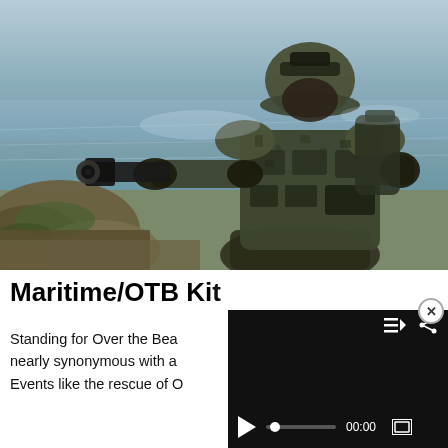[Figure (photo): A soldier in full camouflage tactical gear, helmet with night-vision mount, body armor and tactical vest loaded with pouches, aiming a weapon with both hands while crouching near a rocky shoreline with water in the background.]
Maritime/OTB Ki...
Standing for Over the Bea... nearly synonymous with a... Events like the rescue of O...
[Figure (screenshot): A video player overlay with a black background, showing a close button (×) at top-right, playlist and share icons in top bar, and bottom controls including a play button, progress bar with dot, time display reading 00:00, and a fullscreen button.]